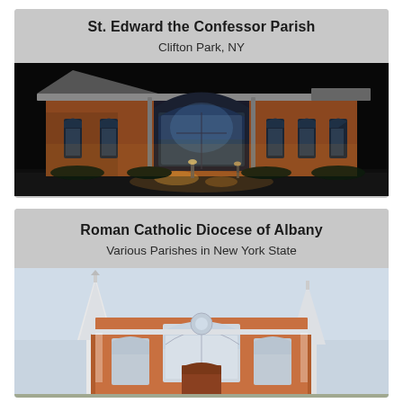St. Edward the Confessor Parish
Clifton Park, NY
[Figure (photo): Night photograph of St. Edward the Confessor Parish church building, a brick structure with illuminated stained glass windows including a large Gothic arch window in the center, lit up dramatically against a dark night sky with ground-level spotlights.]
Roman Catholic Diocese of Albany
Various Parishes in New York State
[Figure (photo): Daytime photograph of a Roman Catholic church with white Gothic spires and red/brown brick facade, showing pointed arch windows and ornate stonework details against a light sky.]